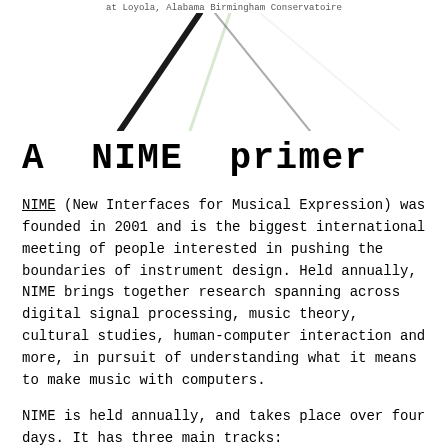at Loyola, Alabama Birmingham Conservatoire
[Figure (photo): Abstract image of crossing lines or instrument strings against a white background, with subtle green tint on one line]
A NIME primer
NIME (New Interfaces for Musical Expression) was founded in 2001 and is the biggest international meeting of people interested in pushing the boundaries of instrument design. Held annually, NIME brings together research spanning across digital signal processing, music theory, cultural studies, human-computer interaction and more, in pursuit of understanding what it means to make music with computers.
NIME is held annually, and takes place over four days. It has three main tracks: